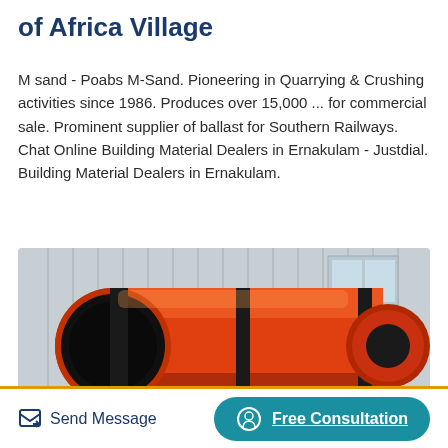of Africa Village
M sand - Poabs M-Sand. Pioneering in Quarrying & Crushing activities since 1986. Produces over 15,000 ... for commercial sale. Prominent supplier of ballast for Southern Railways. Chat Online Building Material Dealers in Ernakulam - Justdial. Building Material Dealers in Ernakulam.
[Figure (photo): Large orange industrial rotary drum/cylinder machine parked outside a white corrugated metal building. The drum is cylindrical and orange-red colored with black end caps, mounted on a wheeled chassis.]
Send Message
Free Consultation